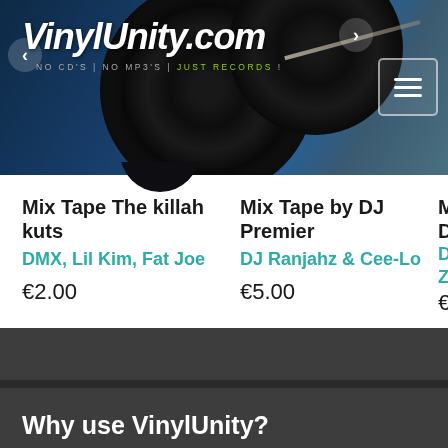VinylUnity.com — NO CD'S | NO MP3'S | JUST RECORDS!
Mix Tape The killah kuts
DMX, Lil Kim, Fat Joe
€2.00
Mix Tape by DJ Premier
DJ Ranjahz & Cee-Lo
€5.00
See all the vendor's discs
Why use VinylUnity?